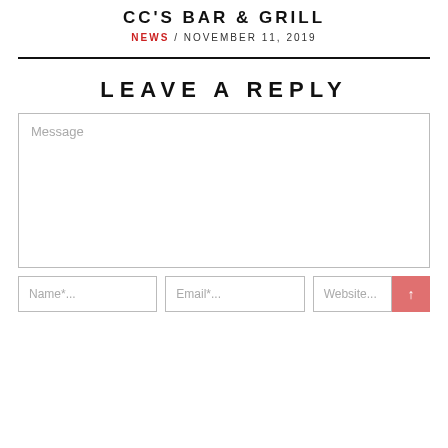CC'S BAR & GRILL
NEWS / NOVEMBER 11, 2019
LEAVE A REPLY